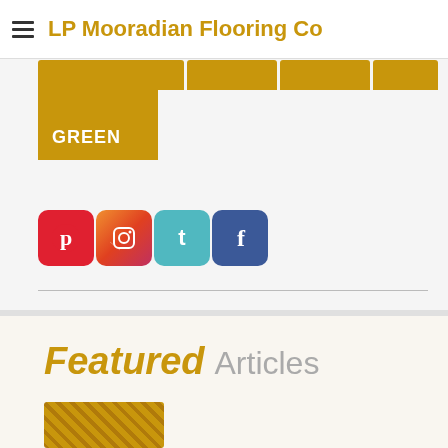LP Mooradian Flooring Co
[Figure (screenshot): Navigation tabs in gold/yellow color: GREEN tab is active/expanded]
[Figure (infographic): Social media icons: Pinterest (red), Instagram (orange-red gradient), Twitter (teal), Facebook (blue)]
Featured Articles
[Figure (photo): Article thumbnail image at bottom, partially visible]